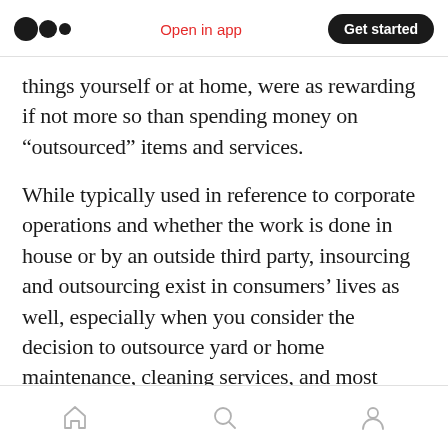Medium logo | Open in app | Get started
things yourself or at home, were as rewarding if not more so than spending money on “outsourced” items and services.
While typically used in reference to corporate operations and whether the work is done in house or by an outside third party, insourcing and outsourcing exist in consumers’ lives as well, especially when you consider the decision to outsource yard or home maintenance, cleaning services, and most commonly, meals.
Home | Search | Profile